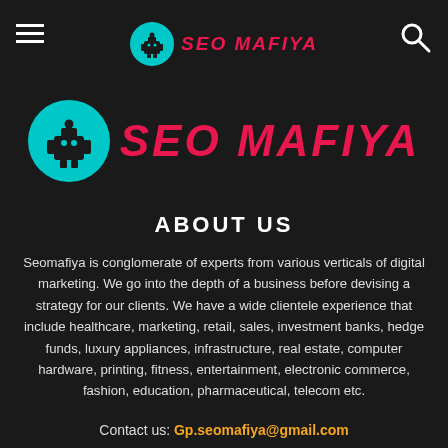SEO MAFIYA
[Figure (logo): SEO Mafiya large hero logo with robot icon in teal circle and red italic text SEO MAFIYA]
ABOUT US
Seomafiya is conglomerate of experts from various verticals of digital marketing. We go into the depth of a business before devising a strategy for our clients. We have a wide clientele experience that include healthcare, marketing, retail, sales, investment banks, hedge funds, luxury appliances, infrastructure, real estate, computer hardware, printing, fitness, entertainment, electronic commerce, fashion, education, pharmaceutical, telecom etc.
Contact us: Gp.seomafiya@gmail.com